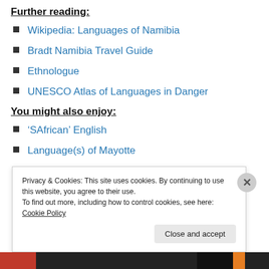Further reading:
Wikipedia: Languages of Namibia
Bradt Namibia Travel Guide
Ethnologue
UNESCO Atlas of Languages in Danger
You might also enjoy:
‘SAfrican’ English
Language(s) of Mayotte
Malagasy – the language of Madagascar
Privacy & Cookies: This site uses cookies. By continuing to use this website, you agree to their use.
To find out more, including how to control cookies, see here: Cookie Policy
Close and accept